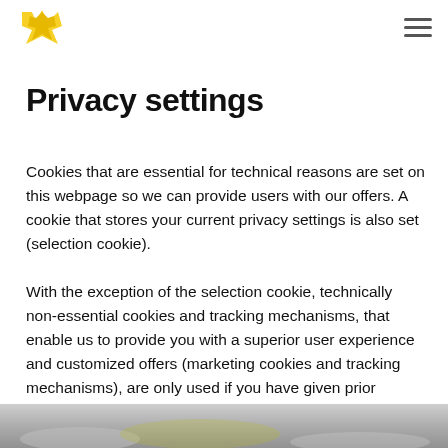[Logo and navigation bar]
Privacy settings
Cookies that are essential for technical reasons are set on this webpage so we can provide users with our offers. A cookie that stores your current privacy settings is also set (selection cookie).
With the exception of the selection cookie, technically non-essential cookies and tracking mechanisms, that enable us to provide you with a superior user experience and customized offers (marketing cookies and tracking mechanisms), are only used if you have given prior consent to such use:
[Figure (photo): Partial blurred photo visible at bottom of page showing grey/silver machinery or equipment]